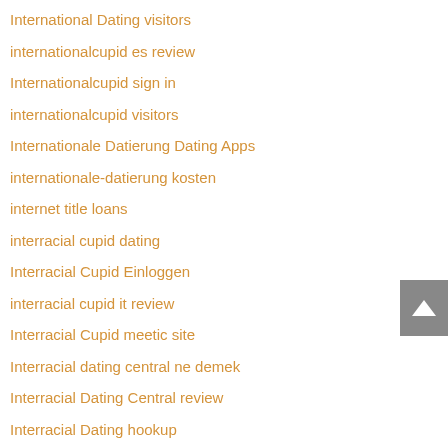International Dating visitors
internationalcupid es review
Internationalcupid sign in
internationalcupid visitors
Internationale Datierung Dating Apps
internationale-datierung kosten
internet title loans
interracial cupid dating
Interracial Cupid Einloggen
interracial cupid it review
Interracial Cupid meetic site
Interracial dating central ne demek
Interracial Dating Central review
Interracial Dating hookup